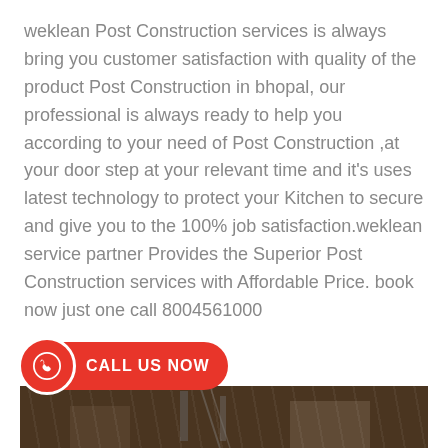weklean Post Construction services is always bring you customer satisfaction with quality of the product Post Construction in bhopal, our professional is always ready to help you according to your need of Post Construction ,at your door step at your relevant time and it's uses latest technology to protect your Kitchen to secure and give you to the 100% job satisfaction.weklean service partner Provides the Superior Post Construction services with Affordable Price. book now just one call 8004561000
[Figure (infographic): Red call-to-action banner with phone icon and text CALL US NOW, followed by a dark construction site image at the bottom]